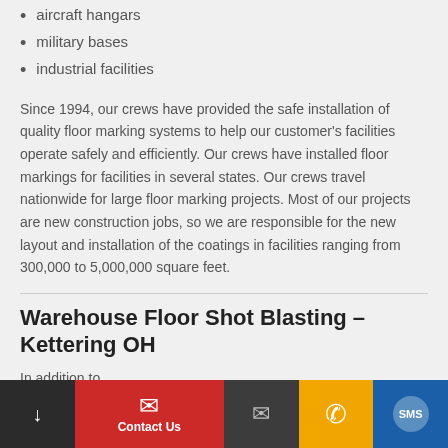aircraft hangars
military bases
industrial facilities
Since 1994, our crews have provided the safe installation of quality floor marking systems to help our customer's facilities operate safely and efficiently. Our crews have installed floor markings for facilities in several states. Our crews travel nationwide for large floor marking projects. Most of our projects are new construction jobs, so we are responsible for the new layout and installation of the coatings in facilities ranging from 300,000 to 5,000,000 square feet.
Warehouse Floor Shot Blasting – Kettering OH
In addition to